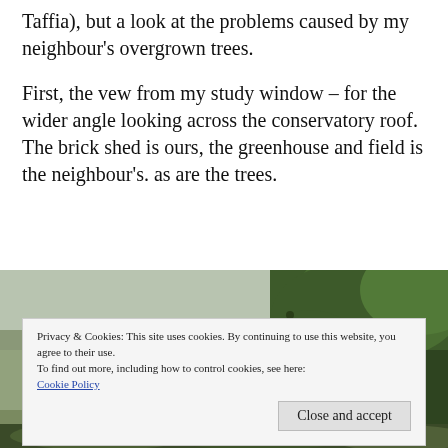Taffia), but a look at the problems caused by my neighbour's overgrown trees.

First, the vew from my study window – for the wider angle looking across the conservatory roof. The brick shed is ours, the greenhouse and field is the neighbour's. as are the trees.
[Figure (photo): Photograph showing overgrown trees and greenery viewed from a study window, with sky partially visible.]
Privacy & Cookies: This site uses cookies. By continuing to use this website, you agree to their use.
To find out more, including how to control cookies, see here: Cookie Policy